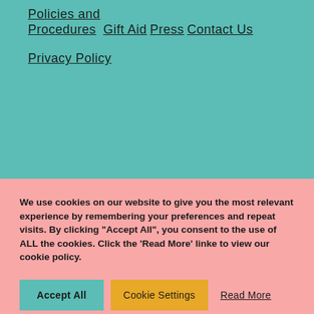Policies and Procedures
Gift Aid
Press
Contact Us
Privacy Policy
We use cookies on our website to give you the most relevant experience by remembering your preferences and repeat visits. By clicking “Accept All”, you consent to the use of ALL the cookies. Click the ‘Read More’ linke to view our cookie policy.
Accept All | Cookie Settings | Read More